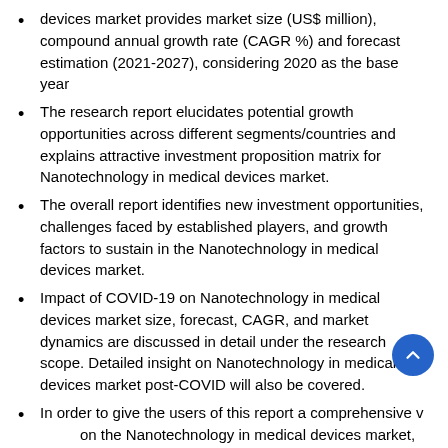devices market provides market size (US$ million), compound annual growth rate (CAGR %) and forecast estimation (2021-2027), considering 2020 as the base year
The research report elucidates potential growth opportunities across different segments/countries and explains attractive investment proposition matrix for Nanotechnology in medical devices market.
The overall report identifies new investment opportunities, challenges faced by established players, and growth factors to sustain in the Nanotechnology in medical devices market.
Impact of COVID-19 on Nanotechnology in medical devices market size, forecast, CAGR, and market dynamics are discussed in detail under the research scope. Detailed insight on Nanotechnology in medical devices market post-COVID will also be covered.
In order to give the users of this report a comprehensive view on the Nanotechnology in medical devices market, we have also included competitive landscape and key innovator analysis for the Nanotechnology in medical devices market
The study encompasses a growth prospect mapping analysis